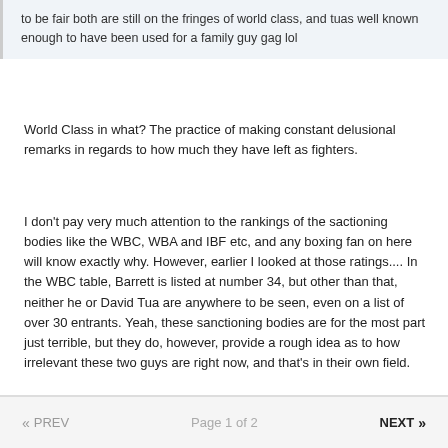to be fair both are still on the fringes of world class, and tuas well known enough to have been used for a family guy gag lol
World Class in what? The practice of making constant delusional remarks in regards to how much they have left as fighters.
I don't pay very much attention to the rankings of the sactioning bodies like the WBC, WBA and IBF etc, and any boxing fan on here will know exactly why. However, earlier I looked at those ratings.... In the WBC table, Barrett is listed at number 34, but other than that, neither he or David Tua are anywhere to be seen, even on a list of over 30 entrants. Yeah, these sanctioning bodies are for the most part just terrible, but they do, however, provide a rough idea as to how irrelevant these two guys are right now, and that's in their own field.
« PREV   Page 1 of 2   NEXT »